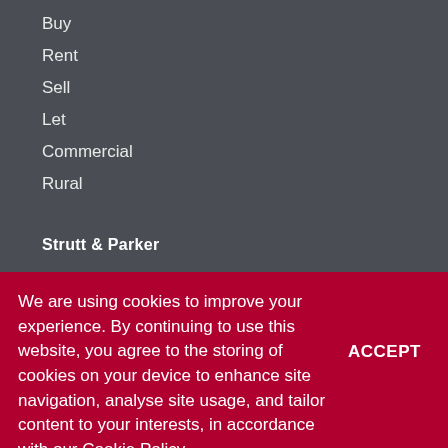Buy
Rent
Sell
Let
Commercial
Rural
Strutt & Parker
We are using cookies to improve your experience. By continuing to use this website, you agree to the storing of cookies on your device to enhance site navigation, analyse site usage, and tailor content to your interests, in accordance with our Cookie Policy.
ACCEPT